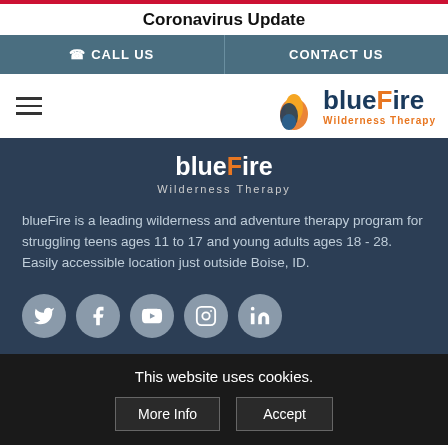Coronavirus Update
CALL US | CONTACT US
[Figure (logo): blueFire Wilderness Therapy logo with flame icon - blue and orange]
blueFire Wilderness Therapy
blueFire is a leading wilderness and adventure therapy program for struggling teens ages 11 to 17 and young adults ages 18 - 28. Easily accessible location just outside Boise, ID.
[Figure (infographic): Social media icons row: Twitter, Facebook, YouTube, Instagram, LinkedIn - grey circles]
This website uses cookies.
More Info | Accept